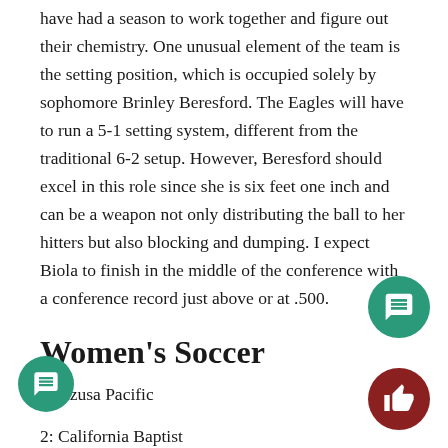have had a season to work together and figure out their chemistry. One unusual element of the team is the setting position, which is occupied solely by sophomore Brinley Beresford. The Eagles will have to run a 5-1 setting system, different from the traditional 6-2 setup. However, Beresford should excel in this role since she is six feet one inch and can be a weapon not only distributing the ball to her hitters but also blocking and dumping. I expect Biola to finish in the middle of the conference with a conference record just above or at .500.
Women's Soccer
1: Azusa Pacific
2: California Baptist
3: Biola